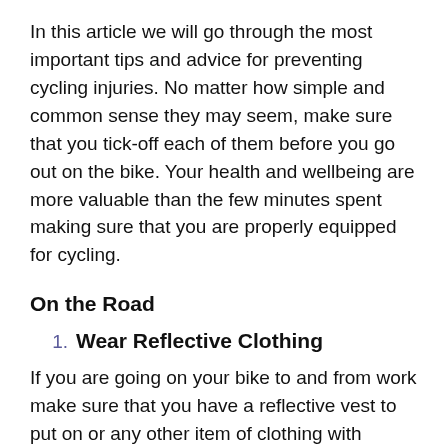In this article we will go through the most important tips and advice for preventing cycling injuries. No matter how simple and common sense they may seem, make sure that you tick-off each of them before you go out on the bike. Your health and wellbeing are more valuable than the few minutes spent making sure that you are properly equipped for cycling.
On the Road
1. Wear Reflective Clothing
If you are going on your bike to and from work make sure that you have a reflective vest to put on or any other item of clothing with reflective elements. Since you will be pedalling among cars on the side of the road for a certain distance, it is of crucial importance to be visible to drivers from a safe distance.